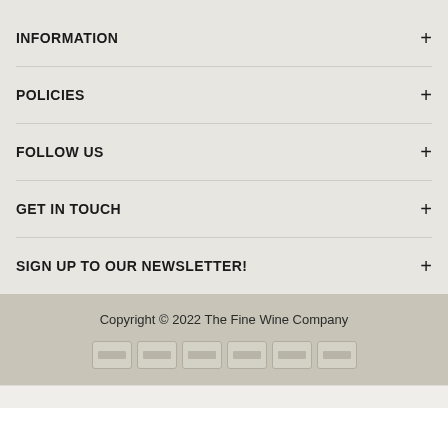INFORMATION
POLICIES
FOLLOW US
GET IN TOUCH
SIGN UP TO OUR NEWSLETTER!
Copyright © 2022 The Fine Wine Company